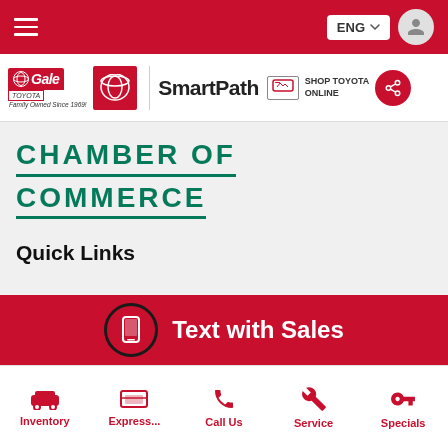Navigation bar with hamburger menu, ENG language selector, user icon
[Figure (logo): Gale Toyota logo, Toyota SmartPath logo, Shop Toyota Online link, and share button]
[Figure (logo): Chamber of Commerce logo/text in green with underline]
Quick Links
[Figure (infographic): Red CTA banner with phone icon circle and Text with Sales button]
Get Approved
Inventory | Express... | Call Us | Service | Specials